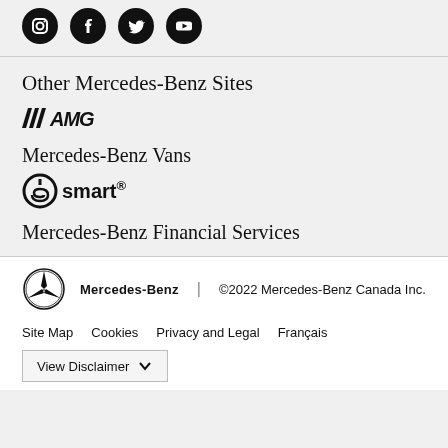[Figure (other): Row of four social media icons (Instagram, Facebook, Twitter, YouTube) as circular black buttons]
Other Mercedes-Benz Sites
[Figure (logo): AMG logo with diagonal stripes and stylized text]
Mercedes-Benz Vans
[Figure (logo): smart brand logo with circle icon and word 'smart']
Mercedes-Benz Financial Services
[Figure (logo): Mercedes-Benz three-pointed star logo in circle]
Mercedes-Benz | ©2022 Mercedes-Benz Canada Inc.
Site Map   Cookies   Privacy and Legal   Français
View Disclaimer